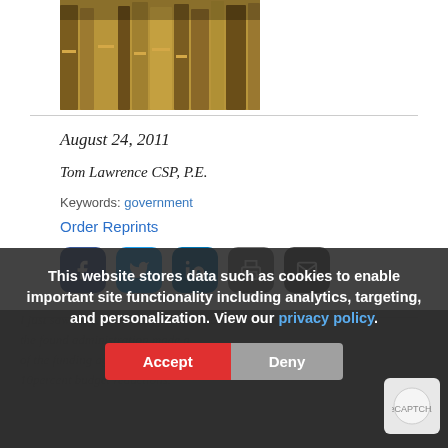[Figure (photo): Row of law books on a shelf, brown leather spines visible]
August 24, 2011
Tom Lawrence CSP, P.E.
Keywords: government
Order Reprints
[Figure (infographic): Social sharing buttons: Facebook, Twitter, LinkedIn, Print, Email]
I just saw a news article that reported the found administration made a get of the funding page privacy p pay. for 5-10percent budget reductions.
This website stores data such as cookies to enable important site functionality including analytics, targeting, and personalization. View our privacy policy.